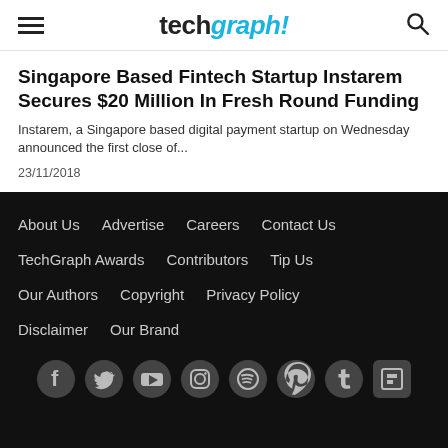techgraph!
Singapore Based Fintech Startup Instarem Secures $20 Million In Fresh Round Funding
Instarem, a Singapore based digital payment startup on Wednesday announced the first close of...
23/11/2018
About Us  Advertise  Careers  Contact Us  TechGraph Awards  Contributors  Tip Us  Our Authors  Copyright  Privacy Policy  Disclaimer  Our Brand